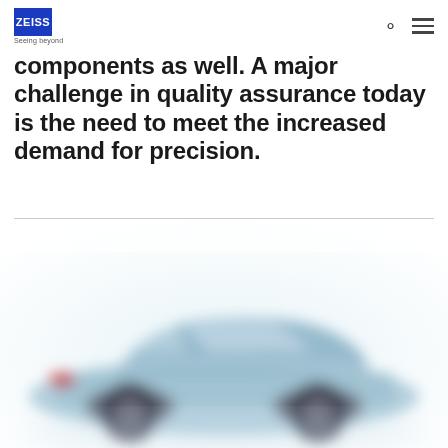ZEISS – Seeing beyond
components as well. A major challenge in quality assurance today is the need to meet the increased demand for precision.
[Figure (photo): Blurred photograph of a car (sedan/saloon), partially visible, with a light blue/grey color scheme, cropped at the bottom of the page.]